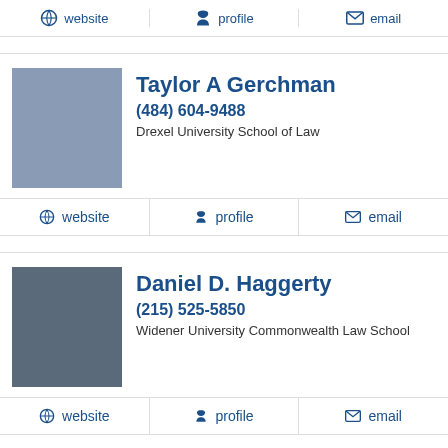website | profile | email
Taylor A Gerchman | (484) 604-9488 | Drexel University School of Law | website | profile | email
Daniel D. Haggerty | (215) 525-5850 | Widener University Commonwealth Law School | website | profile | email
Leonard Keith Hill | (215) 567-7600